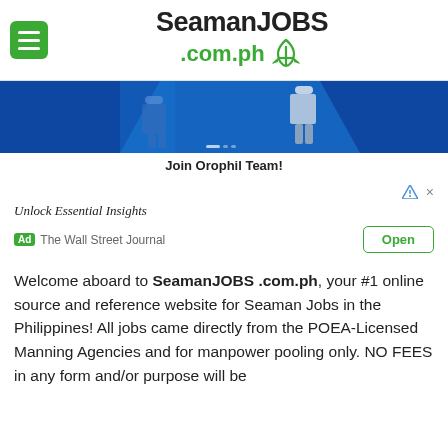SeamanJOBS .com.ph
[Figure (photo): Banner image showing people in a blue-themed background, promotional photo for Orophil Team]
Join Orophil Team!
[Figure (infographic): Advertisement block: Unlock Essential Insights - Ad - The Wall Street Journal - Open button]
Welcome aboard to SeamanJOBS .com.ph, your #1 online source and reference website for Seaman Jobs in the Philippines! All jobs came directly from the POEA-Licensed Manning Agencies and for manpower pooling only. NO FEES in any form and/or purpose will be